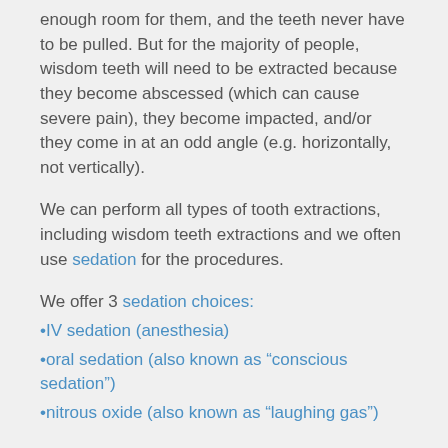enough room for them, and the teeth never have to be pulled. But for the majority of people, wisdom teeth will need to be extracted because they become abscessed (which can cause severe pain), they become impacted, and/or they come in at an odd angle (e.g. horizontally, not vertically).
We can perform all types of tooth extractions, including wisdom teeth extractions and we often use sedation for the procedures.
We offer 3 sedation choices:
•IV sedation (anesthesia)
•oral sedation (also known as “conscious sedation”)
•nitrous oxide (also known as “laughing gas”)
Wisdom teeth extractions are often covered by dental insurance.
In a free dental consultation, we can take a look at your wisdom teeth and then let you know what your options are.